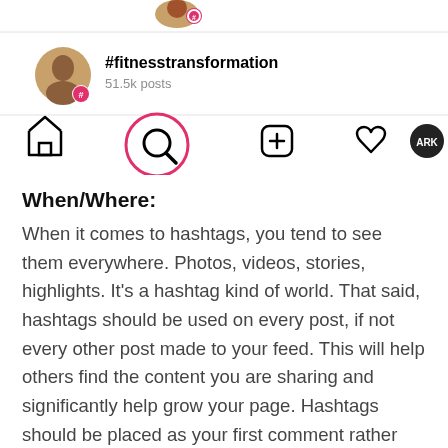[Figure (screenshot): Instagram app screenshot showing the #fitnesstransformation hashtag search result with 51.5k posts, and the bottom navigation bar with home, search (circled in red), add post, likes, and profile icons.]
When/Where:
When it comes to hashtags, you tend to see them everywhere. Photos, videos, stories, highlights. It’s a hashtag kind of world. That said, hashtags should be used on every post, if not every other post made to your feed. This will help others find the content you are sharing and significantly help grow your page. Hashtags should be placed as your first comment rather than in your caption. This is